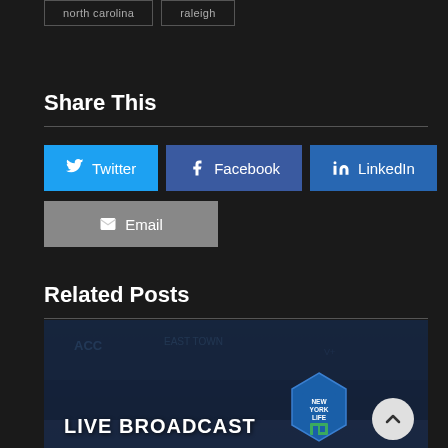| north carolina | raleigh |
Share This
Twitter | Facebook | LinkedIn | Email
Related Posts
[Figure (photo): Sports arena image with LIVE BROADCAST text and New York Life logo badge, scroll-to-top button visible]